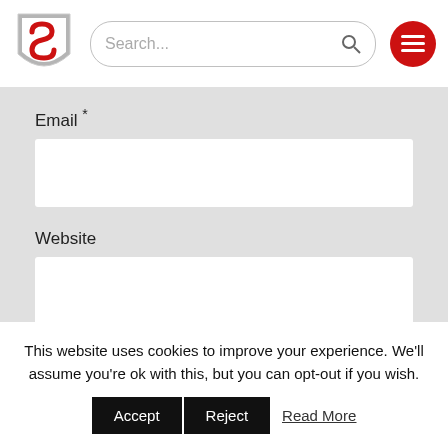[Figure (screenshot): Website header with logo (S shield), search bar, and red hamburger menu button]
Email *
Website
Save my name, email, and website in this browser for the next time I comment.
POST COMMENT
This website uses cookies to improve your experience. We'll assume you're ok with this, but you can opt-out if you wish.
Accept  Reject  Read More